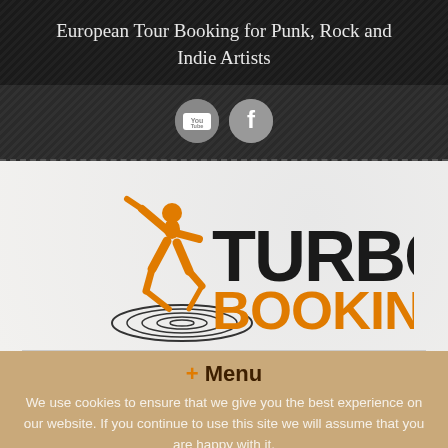European Tour Booking for Punk, Rock and Indie Artists
[Figure (logo): Turbo Booking logo with orange figure skating/jumping silhouette and spiral underneath, bold black TURBO text and orange BOOKING text]
+ Menu
We use cookies to ensure that we give you the best experience on our website. If you continue to use this site we will assume that you are happy with it.
Posts in Category »